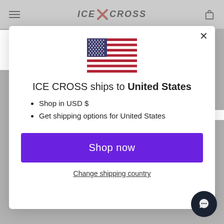ICE CROSS
[Figure (illustration): US flag icon]
ICE CROSS ships to United States
Shop in USD $
Get shipping options for United States
Shop now
Change shipping country